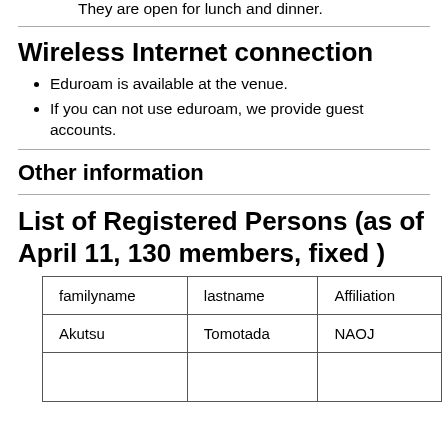(Guemon). They are open for lunch and dinner.
Wireless Internet connection
Eduroam is available at the venue.
If you can not use eduroam, we provide guest accounts.
Other information
List of Registered Persons (as of April 11, 130 members, fixed )
| familyname | lastname | Affiliation |
| --- | --- | --- |
| Akutsu | Tomotada | NAOJ |
|  |  |  |